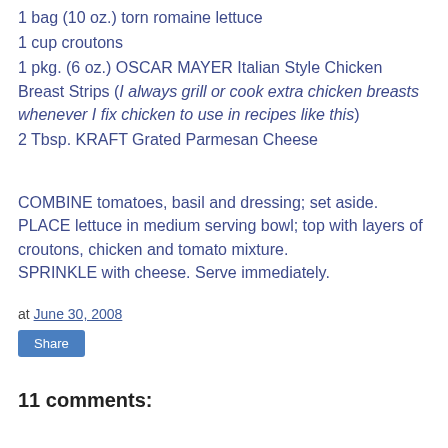1 bag (10 oz.) torn romaine lettuce
1 cup croutons
1 pkg. (6 oz.) OSCAR MAYER Italian Style Chicken Breast Strips (I always grill or cook extra chicken breasts whenever I fix chicken to use in recipes like this)
2 Tbsp. KRAFT Grated Parmesan Cheese
COMBINE tomatoes, basil and dressing; set aside. PLACE lettuce in medium serving bowl; top with layers of croutons, chicken and tomato mixture. SPRINKLE with cheese. Serve immediately.
at June 30, 2008
Share
11 comments: